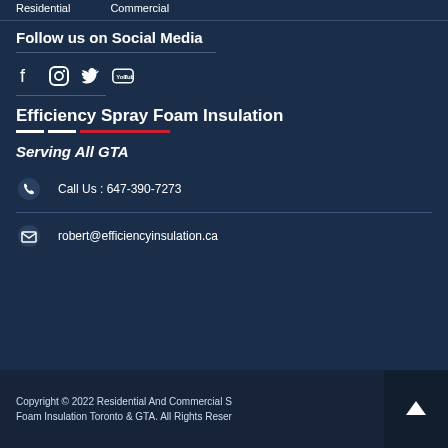Residential   Commercial
Follow us on Social Media
[Figure (illustration): Social media icons: Facebook, Instagram, Twitter, YouTube]
Efficiency Spray Foam Insulation
Serving All GTA
Call Us : 647-390-7273
robert@efficiencyinsulation.ca
Copyright © 2022 Residential And Commercial Spray Foam Insulation Toronto & GTA. All Rights Reserved.